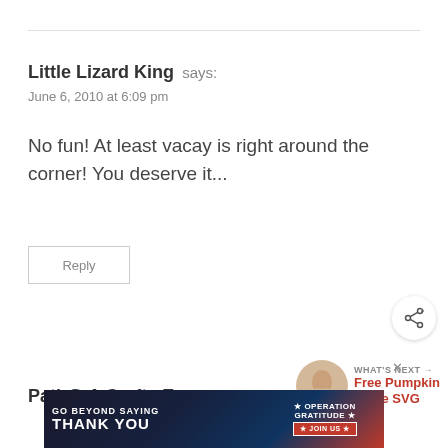Little Lizard King says:
June 6, 2010 at 6:09 pm
No fun! At least vacay is right around the corner! You deserve it...
Reply
[Figure (other): Share button icon — circular button with share/network icon]
[Figure (other): What's Next promotional widget showing thumbnail and 'Free Pumpkin Spice SVG' text]
Pati @ A Crafty Escape says:
[Figure (other): Advertisement banner: 'GO BEYOND SAYING THANK YOU' Operation Gratitude JOIN US]